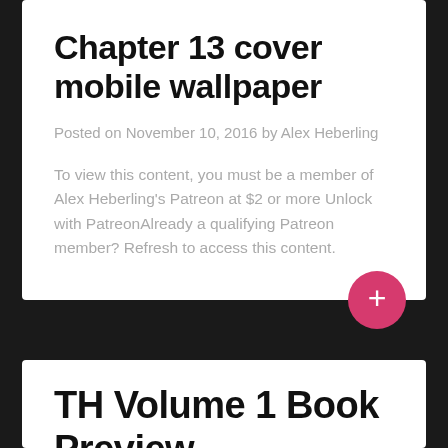Chapter 13 cover mobile wallpaper
Posted on November 10, 2016 by Alex Heberling
To view this content, you must be a member of Alex Heberling's Patreon at $2 or more Unlock with PatreonAlready a qualifying Patreon member? Refresh to access this content.
TH Volume 1 Book Preview